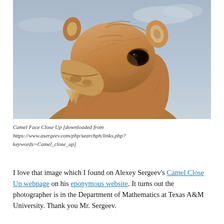[Figure (photo): Close-up photograph of a camel's face and neck against a grey-blue sky background. The camel is looking upward-right, showing detailed fur texture, eye, ear, and muzzle.]
Camel Face Close Up [downloaded from https://www.asergeev.com/php/searchph/links.php?keywords=Camel_close_up]
I love that image which I found on Alexey Sergeev's Camel Close Up webpage on his eponymous website. It turns out the photographer is in the Department of Mathematics at Texas A&M University. Thank you Mr. Sergeev.